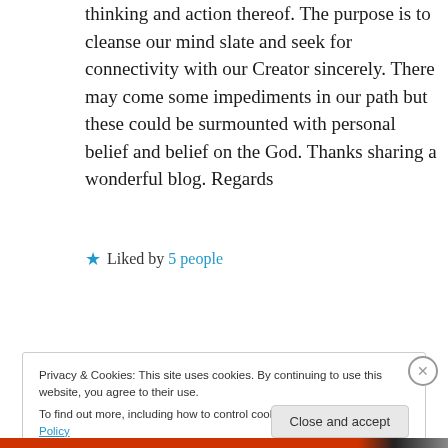thinking and action thereof. The purpose is to cleanse our mind slate and seek for connectivity with our Creator sincerely. There may come some impediments in our path but these could be surmounted with personal belief and belief on the God. Thanks sharing a wonderful blog. Regards
★ Liked by 5 people
Log in to Reply
Privacy & Cookies: This site uses cookies. By continuing to use this website, you agree to their use. To find out more, including how to control cookies, see here: Cookie Policy
Close and accept